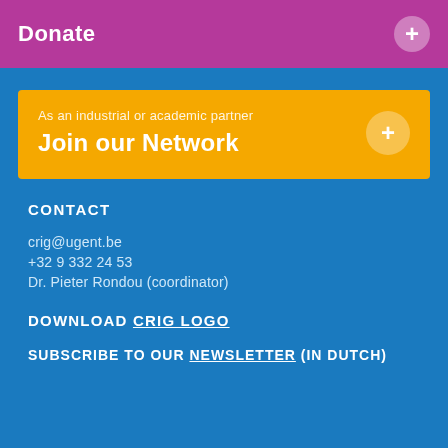Donate
As an industrial or academic partner
Join our Network
CONTACT
crig@ugent.be
+32 9 332 24 53
Dr. Pieter Rondou (coordinator)
DOWNLOAD CRIG LOGO
SUBSCRIBE TO OUR NEWSLETTER (IN DUTCH)